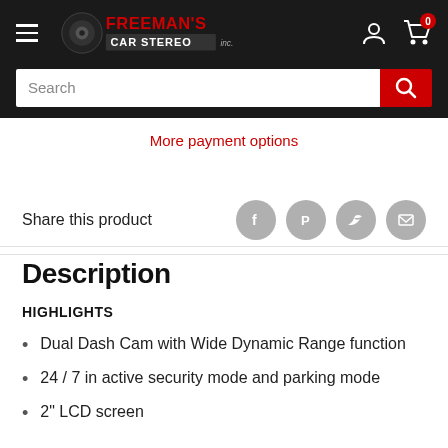Freeman's Car Stereo — navigation header with search bar
More payment options
Share this product
Description
HIGHLIGHTS
Dual Dash Cam with Wide Dynamic Range function
24 / 7 in active security mode and parking mode
2" LCD screen